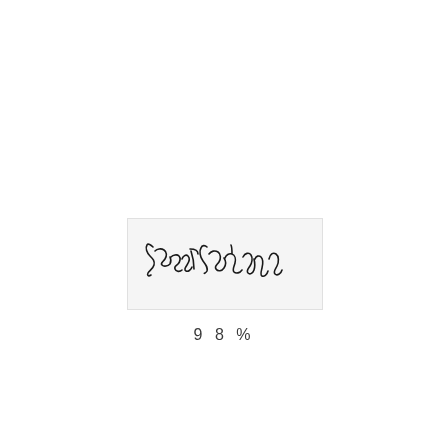[Figure (illustration): Handwritten cursive signature reading 'Jason Sherman' on a light gray background rectangle]
98%